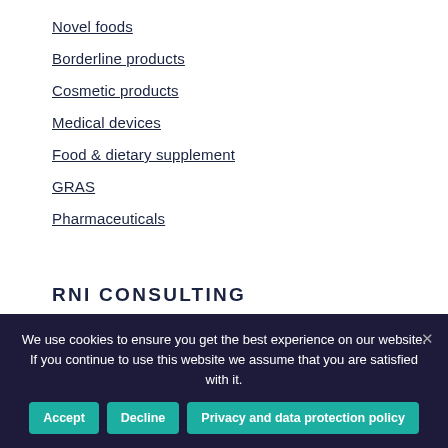Novel foods
Borderline products
Cosmetic products
Medical devices
Food & dietary supplement
GRAS
Pharmaceuticals
RNI CONSULTING
Brochures
We use cookies to ensure you get the best experience on our website. If you continue to use this website we assume that you are satisfied with it.
Accept
Decline
Privacy and data protection policy